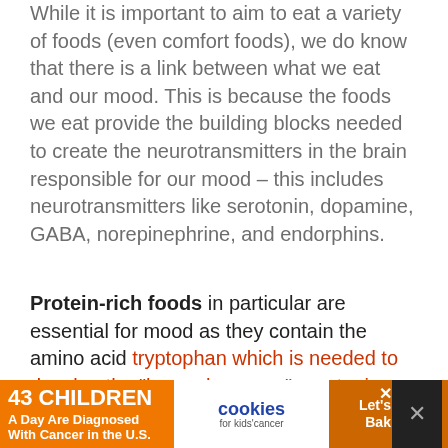While it is important to aim to eat a variety of foods (even comfort foods), we do know that there is a link between what we eat and our mood. This is because the foods we eat provide the building blocks needed to create the neurotransmitters in the brain responsible for our mood – this includes neurotransmitters like serotonin, dopamine, GABA, norepinephrine, and endorphins.
Protein-rich foods in particular are essential for mood as they contain the amino acid tryptophan which is needed to develop the "happy hormone" serotonin. You can obtain protein from animal-based foods such as lean meats and dairy, as well as...
[Figure (other): Advertisement banner: '43 CHILDREN A Day Are Diagnosed With Cancer in the U.S.' with cookies for kids cancer logo and 'Let's Get Baking' button]